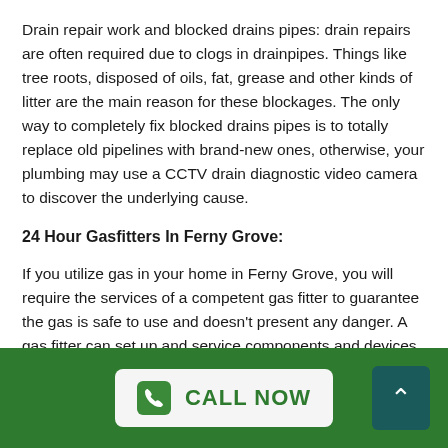Drain repair work and blocked drains pipes: drain repairs are often required due to clogs in drainpipes. Things like tree roots, disposed of oils, fat, grease and other kinds of litter are the main reason for these blockages. The only way to completely fix blocked drains pipes is to totally replace old pipelines with brand-new ones, otherwise, your plumbing may use a CCTV drain diagnostic video camera to discover the underlying cause.
24 Hour Gasfitters In Ferny Grove:
If you utilize gas in your home in Ferny Grove, you will require the services of a competent gas fitter to guarantee the gas is safe to use and doesn't present any danger. A gas fitter can set up and service components and devices in domestic, business and
CALL NOW